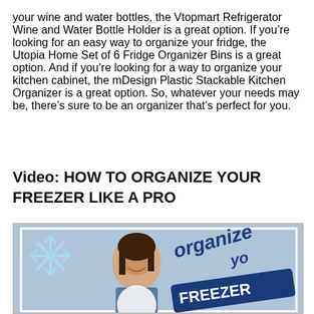your wine and water bottles, the Vtopmart Refrigerator Wine and Water Bottle Holder is a great option. If you're looking for an easy way to organize your fridge, the Utopia Home Set of 6 Fridge Organizer Bins is a great option. And if you're looking for a way to organize your kitchen cabinet, the mDesign Plastic Stackable Kitchen Organizer is a great option. So, whatever your needs may be, there's sure to be an organizer that's perfect for you.
Video: HOW TO ORGANIZE YOUR FREEZER LIKE A PRO
[Figure (photo): Video thumbnail showing a woman smiling with text 'organize your FREEZER' overlaid, and a snowflake graphic in the top left corner.]